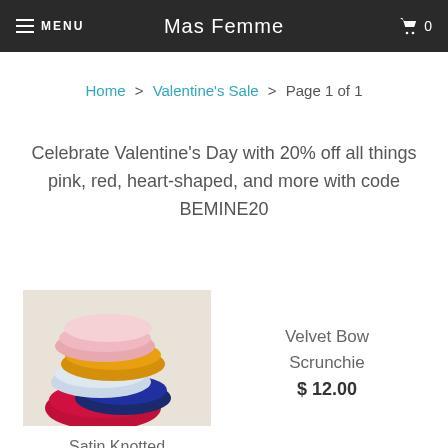MENU  Mas Femme  🛒 0
Home > Valentine's Sale > Page 1 of 1
Celebrate Valentine's Day with 20% off all things pink, red, heart-shaped, and more with code BEMINE20
[Figure (photo): Stacked colorful scrunchies in pink, yellow, red, white, and blue/dark colors]
Satin Knotted Headband
$ 15.00
Velvet Bow Scrunchie
$ 12.00